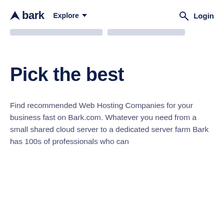bark  Explore  Login
[Figure (other): Two horizontal grey placeholder image strips at the top of the page content area]
Pick the best
Find recommended Web Hosting Companies for your business fast on Bark.com. Whatever you need from a small shared cloud server to a dedicated server farm Bark has 100s of professionals who can